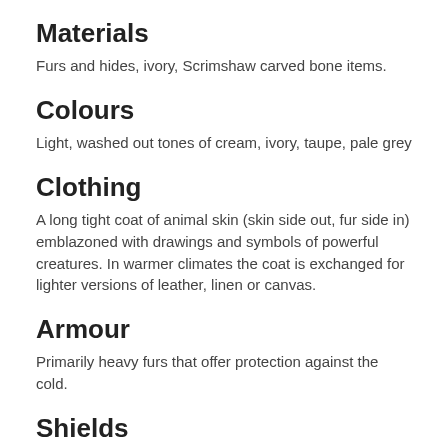Materials
Furs and hides, ivory, Scrimshaw carved bone items.
Colours
Light, washed out tones of cream, ivory, taupe, pale grey
Clothing
A long tight coat of animal skin (skin side out, fur side in) emblazoned with drawings and symbols of powerful creatures. In warmer climates the coat is exchanged for lighter versions of leather, linen or canvas.
Armour
Primarily heavy furs that offer protection against the cold.
Shields